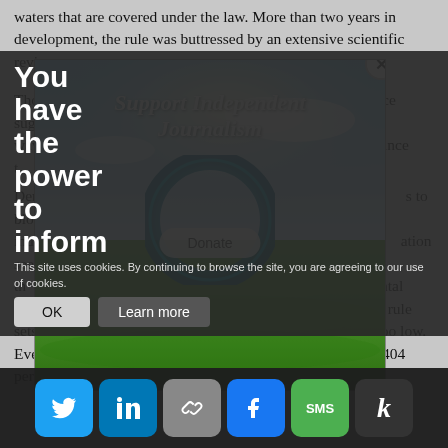waters that are covered under the law. More than two years in development, the rule was buttressed by an extensive scientific review.
Though its regulatory reach is less expansive than the science suggested, the rule nonetheless created waves ... May 27. Since then, Democrats ... to block it ... agricultural industry ... ation seek the ... ental groups swings in the opposite direction, contending that the rule sets the bar for federal protection of wetlands and streams too low. Even the Army Corps of Engineers, ... ruling Section 404 permits, a...
[Figure (infographic): Pop-up advertisement overlay showing a landscape photo with blue sky and green fields, with text 'Support Independent Journalism' and a 'Donate' button, plus a close (X) button]
You have the power to inform
This site uses cookies. By continuing to browse the site, you are agreeing to our use of cookies.
OK
Learn more
[Figure (infographic): Social sharing bar with icons for Twitter, LinkedIn, Link/share, Facebook, SMS, and Kinja]